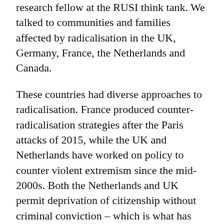research fellow at the RUSI think tank. We talked to communities and families affected by radicalisation in the UK, Germany, France, the Netherlands and Canada.
These countries had diverse approaches to radicalisation. France produced counter-radicalisation strategies after the Paris attacks of 2015, while the UK and Netherlands have worked on policy to counter violent extremism since the mid-2000s. Both the Netherlands and UK permit deprivation of citizenship without criminal conviction – which is what has now happened to Begum.
We heard stories of people prevented from travel by police, as well as of both women and men who left for Syria and Iraq. Across the five countries we noted differences in how men and women were